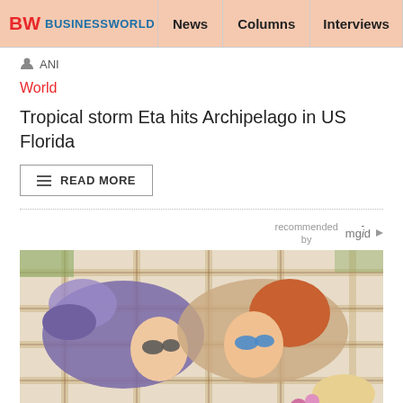BW BUSINESSWORLD | News | Columns | Interviews | BW
ANI
World
Tropical storm Eta hits Archipelago in US Florida
READ MORE
recommended by mgid
[Figure (photo): Two young women lying on a plaid blanket outdoors, smiling, wearing sunglasses. One has a hat and flowers nearby. Aerial/top-down perspective.]